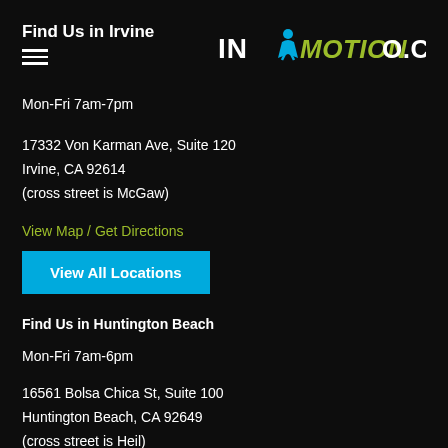Find Us in Irvine
[Figure (logo): IN MOTION O.C. logo with stylized figure and green/blue/white lettering]
Mon-Fri 7am-7pm
17332 Von Karman Ave, Suite 120
Irvine, CA 92614
(cross street is McGaw)
View Map / Get Directions
View All Locations
Find Us in Huntington Beach
Mon-Fri 7am-6pm
16561 Bolsa Chica St, Suite 100
Huntington Beach, CA 92649
(cross street is Heil)
View Map / Get Directions